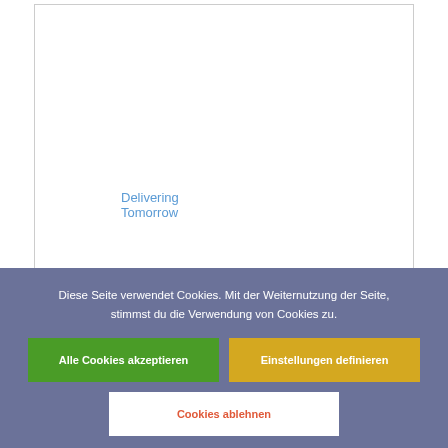[Figure (screenshot): White content box with a link text 'Delivering Tomorrow' in blue at the bottom left]
Delivering Tomorrow
Diese Seite verwendet Cookies. Mit der Weiternutzung der Seite, stimmst du die Verwendung von Cookies zu.
Alle Cookies akzeptieren
Einstellungen definieren
Cookies ablehnen